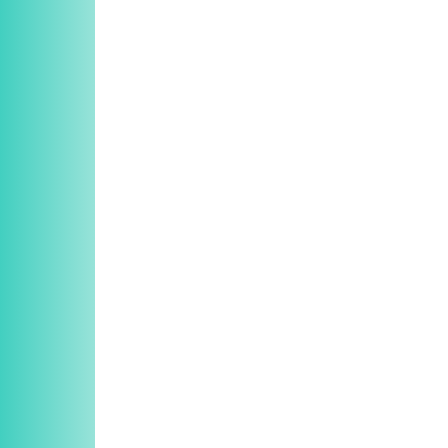The crime was discovered at noted that a locked gate had
Burglars pried open the back stereo, two Nintendo video g pair of gold earrings, two bar
The crime was discovered by September 21.
A burglar alarm apparently so made off with a pair of gold e
The alarm was tripped at abo scene to meet the 44-year-ol which had been forced open.
Burglars broke through the si